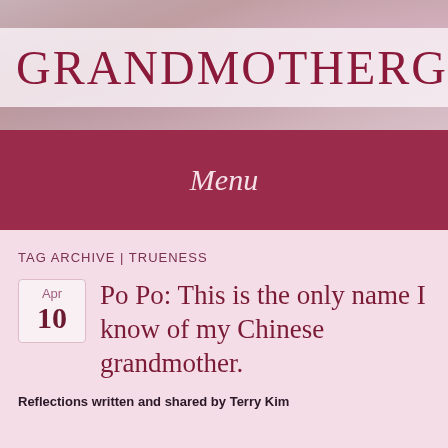GRANDMOTHERGAR
Menu
TAG ARCHIVE | TRUENESS
Po Po: This is the only name I know of my Chinese grandmother.
Reflections written and shared by Terry Kim